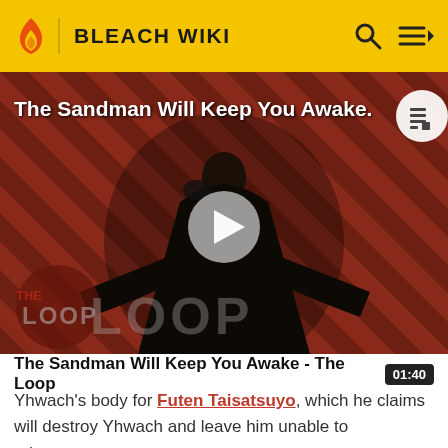BLEACH WIKI
[Figure (screenshot): Video thumbnail for 'The Sandman Will Keep You Awake - The Loop' showing a dark-cloaked figure against a red striped background, with a play button overlay and THE LOOP watermark]
The Sandman Will Keep You Awake - The Loop
Yhwach's body for Futen Taisatsuyo, which he claims will destroy Yhwach and leave him unable to reincarnate. However, Yhwach states he is no longer nameless and will be the one to take everything from Ichibē before